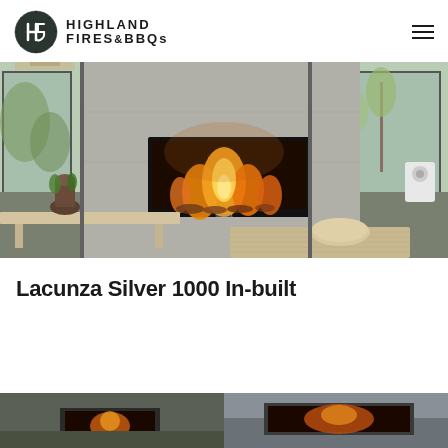HIGHLAND FIRES & BBQs
[Figure (photo): Interior living room with a modern built-in fireplace (Lacunza Silver 1000 In-built) set into a grey concrete wall, showing active flames, with large floor-to-ceiling windows, a wooden coffee table, natural light, and a rug with cushions in the foreground.]
Lacunza Silver 1000 In-built
[Figure (photo): Two thumbnail images partially visible at the bottom of the page showing additional product views.]